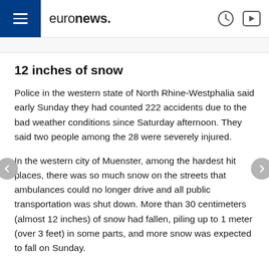euronews.
12 inches of snow
Police in the western state of North Rhine-Westphalia said early Sunday they had counted 222 accidents due to the bad weather conditions since Saturday afternoon. They said two people among the 28 were severely injured.
In the western city of Muenster, among the hardest hit places, there was so much snow on the streets that ambulances could no longer drive and all public transportation was shut down. More than 30 centimeters (almost 12 inches) of snow had fallen, piling up to 1 meter (over 3 feet) in some parts, and more snow was expected to fall on Sunday.